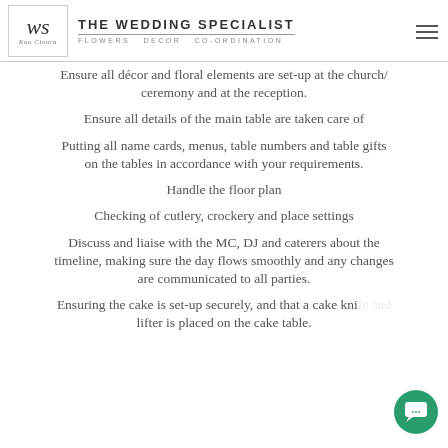The Wedding Specialist – Flowers Decor Co-ordination
Ensure all décor and floral elements are set-up at the church/ceremony and at the reception.
Ensure all details of the main table are taken care of
Putting all name cards, menus, table numbers and table gifts on the tables in accordance with your requirements.
Handle the floor plan
Checking of cutlery, crockery and place settings
Discuss and liaise with the MC, DJ and caterers about the timeline, making sure the day flows smoothly and any changes are communicated to all parties.
Ensuring the cake is set-up securely, and that a cake knife and lifter is placed on the cake table.